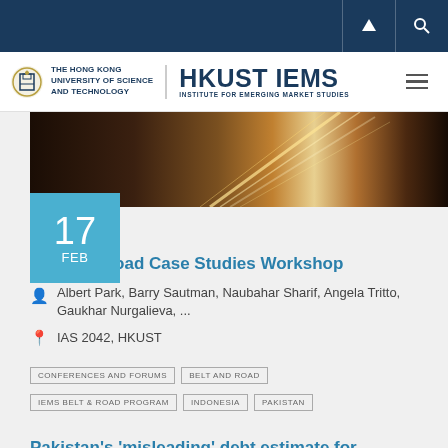[Figure (logo): HKUST IEMS logo with university crest and full name]
[Figure (photo): Dark highway with light streaks, event banner image]
Belt and Road Case Studies Workshop
Albert Park, Barry Sautman, Naubahar Sharif, Angela Tritto, Gaukhar Nurgalieva, ...
IAS 2042, HKUST
CONFERENCES AND FORUMS
BELT AND ROAD
IEMS BELT & ROAD PROGRAM
INDONESIA
PAKISTAN
Pakistan's 'misleading' debt estimate for